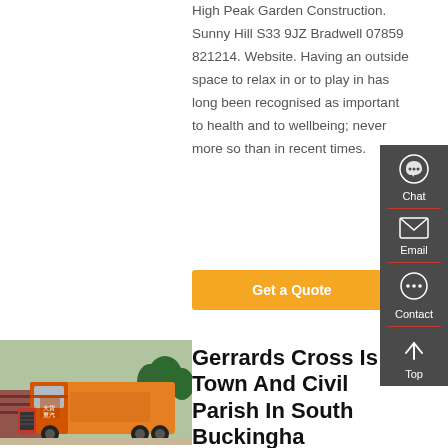High Peak Garden Construction. Sunny Hill S33 9JZ Bradwell 07859 821214. Website. Having an outside space to relax in or to play in has long been recognised as important to health and to wellbeing; never more so than in recent times.
Get a Quote
[Figure (photo): Orange heavy-duty truck/semi-tractor parked in a lot with trees and brick wall in background, Chinese text on side]
Gerrards Cross Is A Town And Civil Parish In South Buckingha